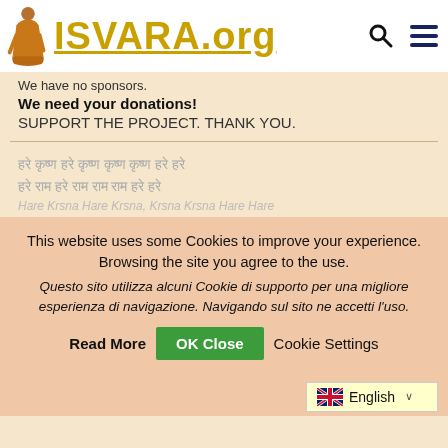[Figure (logo): ISVARA.org website logo with a saffron-robed monk figure on the left and golden stylized text 'ISVARA.org' with underline, plus search and hamburger menu icons on the right]
We have no sponsors.
We need your donations!
SUPPORT THE PROJECT. THANK YOU.
हरे कृष्ण हरे कृष्ण कृष्ण कृष्ण हरे हरे हरे राम हरे राम राम राम हरे हरे
Hare Krsna Hare Krsna, Krsna Krsna Hare Hare
This website uses some Cookies to improve your experience. Browsing the site you agree to the use. Questo sito utilizza alcuni Cookie di supporto per una migliore esperienza di navigazione. Navigando sul sito ne accetti l'uso.
Read More  OK Close  Cookie Settings
English